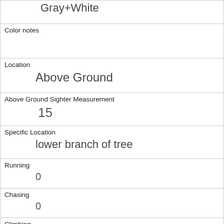| Gray+White |
| Color notes |  |
| Location | Above Ground |
| Above Ground Sighter Measurement | 15 |
| Specific Location | lower branch of tree |
| Running | 0 |
| Chasing | 0 |
| Climbing | 0 |
| Eating | 1 |
| Foraging | 0 |
| Other Activities |  |